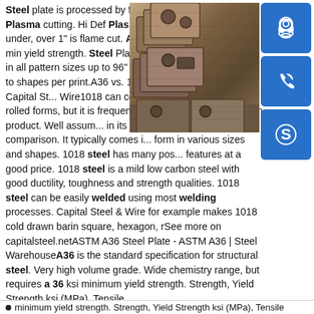Steel plate is processed by flame cutting or High Def Plasma cutting. Hi Def Plasma is utilized to sizes 1" and under, over 1" is flame cut. A36 Steel plate has a 36,000 min yield strength. Steel Plate. Steel plate A36 is stocked in all pattern sizes up to 96" x 288" and can be processed to shapes per print.A36 vs. 1018 Steel Comparison | Capital St... Wire1018 can come in cold drawn or hot rolled forms, but it is frequently purchased as a cold drawn product. Well assum... in its cold drawn state in this comparison. It typically comes i... form in various sizes and shapes. 1018 steel has many pos... features at a good price. 1018 steel is a mild low carbon steel with good ductility, toughness and strength qualities. 1018 steel can be easily welded using most welding processes. Capital Steel & Wire for example makes 1018 cold drawn barin square, hexagon, rSee more on capitalsteel.netASTM A36 Steel Plate - ASTM A36 | Steel WarehouseA36 is the standard specification for structural steel. Very high volume grade. Wide chemistry range, but requires a 36 ksi minimum yield strength. Strength, Yield Strength ksi (MPa), Tensile
[Figure (photo): Photo of steel plates stacked with flame-cut or plasma-cut shapes/holes visible, showing industrial processed steel parts]
[Figure (illustration): Blue icon button with headset/customer service icon]
[Figure (illustration): Blue icon button with phone/call icon]
[Figure (illustration): Blue icon button with Skype icon]
minimum yield strength. Strength, Yield Strength ksi (MPa), Tensile